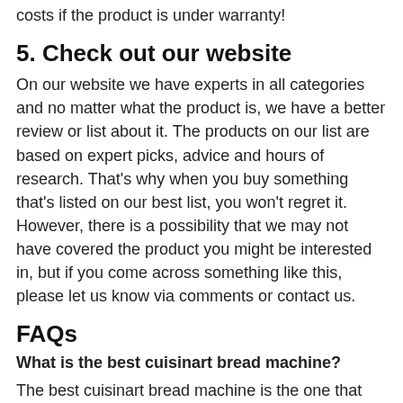costs if the product is under warranty!
5. Check out our website
On our website we have experts in all categories and no matter what the product is, we have a better review or list about it. The products on our list are based on expert picks, advice and hours of research. That's why when you buy something that's listed on our best list, you won't regret it. However, there is a possibility that we may not have covered the product you might be interested in, but if you come across something like this, please let us know via comments or contact us.
FAQs
What is the best cuisinart bread machine?
The best cuisinart bread machine is the one that has all the features that meet your needs. I think the best is Cuisinart Bread Maker, Up To 2lb Loaf, New Compact Automatic